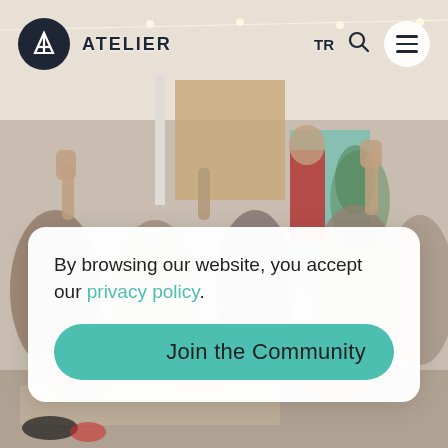[Figure (photo): Indoor community event photo showing a large group of people seated in a bright space with string lights overhead. Several people are raising their hands. A person in a red shirt stands in the background near a plant.]
ATELIER  TR  ☰
By browsing our website, you accept our privacy policy.
Join the Community